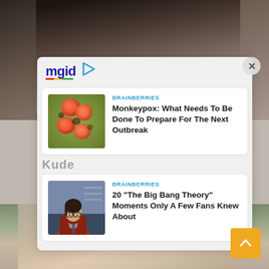[Figure (screenshot): MGID content recommendation widget overlay on a webpage. Shows the MGID logo with colored underline and play icon. Two article cards from BRAINBERRIES: 1) 'Monkeypox: What Needs To Be Done To Prepare For The Next Outbreak' with monkeypox cell image, 2) '20 "The Big Bang Theory" Moments Only A Few Fans Knew About' with a woman in glasses. Background shows blurred portrait photos. Yellow scroll-to-top button bottom right. X close button top right.]